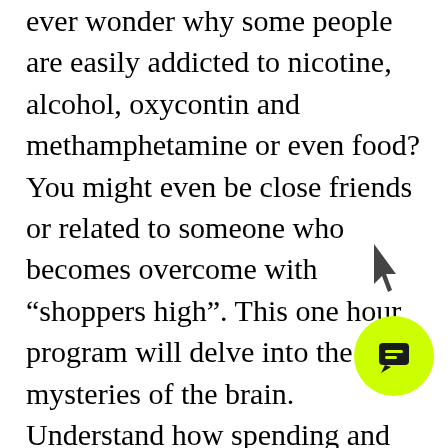ever wonder why some people are easily addicted to nicotine, alcohol, oxycontin and methamphetamine or even food? You might even be close friends or related to someone who becomes overcome with “shoppers high”. This one hour program will delve into the mysteries of the brain. Understand how spending and addictions can sneak up on us and control our behavior. Discover how learning about the inner workings of the brain can help us understand our own spending and investing behavior and how we all can become financially independent. Understand how the the brain attempts to control our ability for cravings. Spend more time learning about why we do what we do